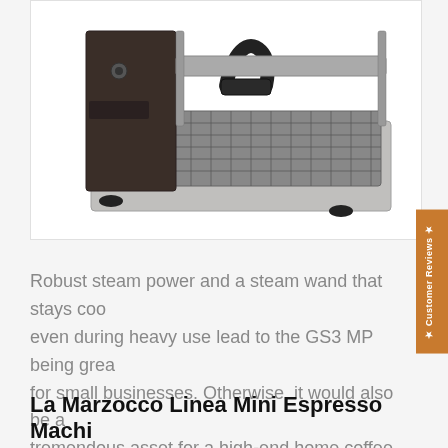[Figure (photo): La Marzocco GS3 MP espresso machine viewed from above/side angle, showing the stainless steel drip tray, portafilter handle, and grid tray — displayed on a white background.]
Robust steam power and a steam wand that stays cool even during heavy use lead to the GS3 MP being great for small businesses. Otherwise, it would also be a tremendous asset for a high-end home coffee bar.
La Marzocco Linea Mini Espresso Machine